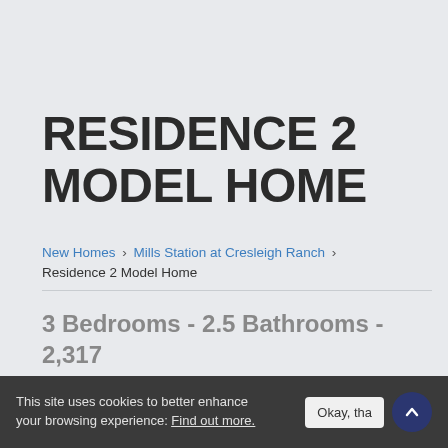RESIDENCE 2 MODEL HOME
New Homes › Mills Station at Cresleigh Ranch › Residence 2 Model Home
3 Bedrooms - 2.5 Bathrooms - 2,317 sq. ft. - $714,000
[Figure (photo): Dark blue-purple image strip, likely exterior or interior home photo]
This site uses cookies to better enhance your browsing experience: Find out more.